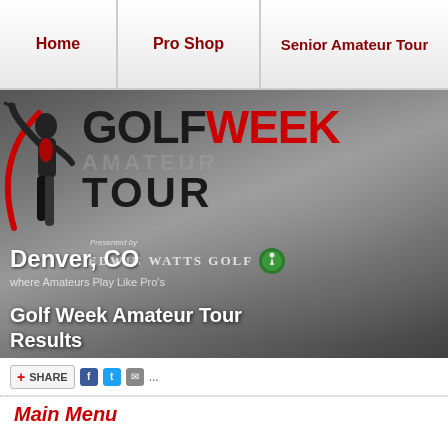Home | Pro Shop | Senior Amateur Tour
[Figure (logo): Golfweek Amateur Tour logo with golfer silhouette, presented by Edwin Watts Golf. Banner shows Denver, CO location with tagline 'where Amateurs Play Like Pro's' and heading 'Golf Week Amateur Tour Results']
SHARE [Facebook] [Twitter] [Email] ...
Main Menu